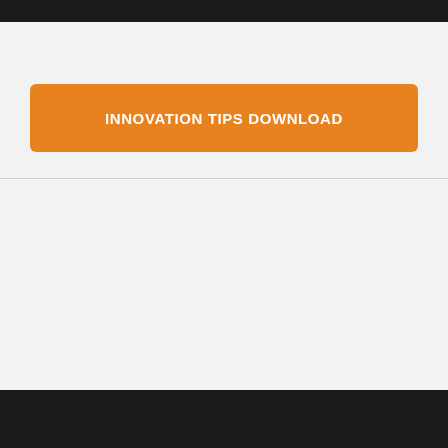[Figure (other): Black bar at top of page (cropped image area)]
INNOVATION TIPS DOWNLOAD
🎙 Kennedy-Mighell Report Podcast
Noted legal technologists Dennis Kennedy and Tom Mighell bring listeners an in-depth analysis of the latest advancements in legal technology, in addition to best practices for utilizing existing tools.
DennisKennedy Blog